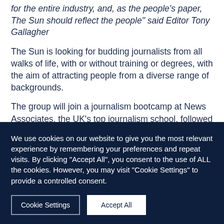for the entire industry, and, as the people's paper, The Sun should reflect the people" said Editor Tony Gallagher
The Sun is looking for budding journalists from all walks of life, with or without training or degrees, with the aim of attracting people from a diverse range of backgrounds.
The group will join a journalism bootcamp at News Associates, the UK's top journalism school, followed by a 40-week part-time NCTJ training course in February. During the course, the trainees will also be working in The Sun newsroom for three days a week.
We use cookies on our website to give you the most relevant experience by remembering your preferences and repeat visits. By clicking "Accept All", you consent to the use of ALL the cookies. However, you may visit "Cookie Settings" to provide a controlled consent.